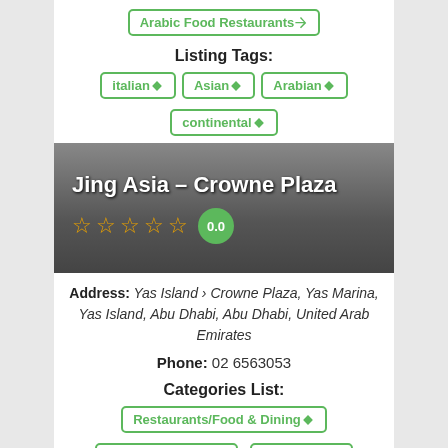Arabic Food Restaurants
Listing Tags:
Italian
Asian
Arabian
continental
Jing Asia – Crowne Plaza
0.0
Address: Yas Island › Crowne Plaza, Yas Marina, Yas Island, Abu Dhabi, Abu Dhabi, United Arab Emirates
Phone: 02 6563053
Categories List:
Restaurants/Food & Dining
Asian Restaurants
Fine Dining
Listing Tags:
Asian